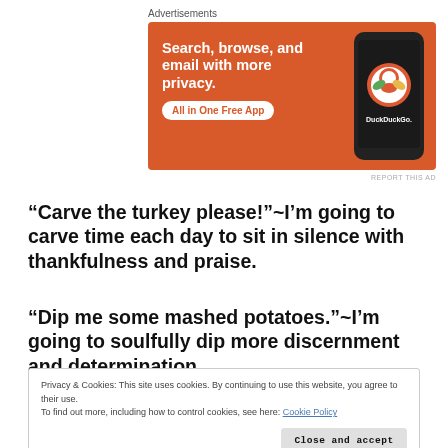Advertisements
[Figure (photo): DuckDuckGo advertisement banner with orange background. Text reads 'Search, browse, and email with more privacy. All in One Free App' with phone graphic showing the DuckDuckGo logo.]
REPORT THIS AD
“Carve the turkey please!”~I’m going to carve time each day to sit in silence with thankfulness and praise.
“Dip me some mashed potatoes.”~I’m going to soulfully dip more discernment and determination.
Privacy & Cookies: This site uses cookies. By continuing to use this website, you agree to their use.
To find out more, including how to control cookies, see here: Cookie Policy
Close and accept